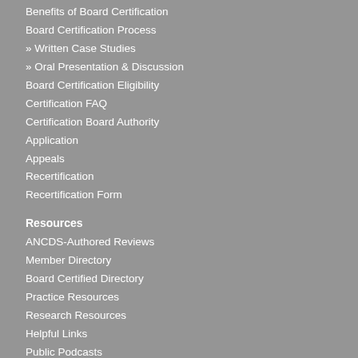Benefits of Board Certification
Board Certification Process
» Written Case Studies
» Oral Presentation & Discussion
Board Certification Eligibility
Certification FAQ
Certification Board Authority
Application
Appeals
Recertification
Recertification Form
Resources
ANCDS-Authored Reviews
Member Directory
Board Certified Directory
Practice Resources
Research Resources
Helpful Links
Public Podcasts
Newsletters
Continuing Education
Annual Meeting
» Annual Meeting Information
» Cancellation Policy